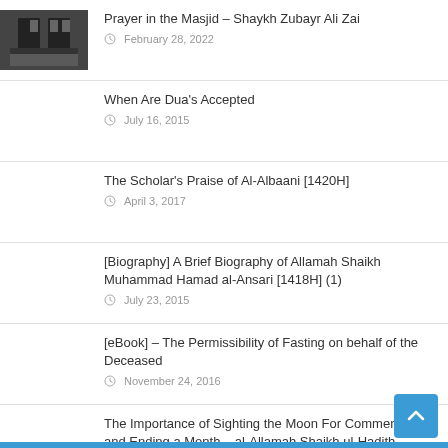Prayer in the Masjid – Shaykh Zubayr Ali Zai | February 28, 2022
When Are Dua's Accepted | July 16, 2015
The Scholar's Praise of Al-Albaani [1420H] | April 3, 2017
[Biography] A Brief Biography of Allamah Shaikh Muhammad Hamad al-Ansari [1418H] (1) | July 23, 2015
[eBook] – The Permissibility of Fasting on behalf of the Deceased | November 24, 2016
The Importance of Sighting the Moon For Commencing and Ending a Month – al-Allamah Shaikh ul-Hadith Ubadiullah Rehmani Mubarakpuri [1414H]